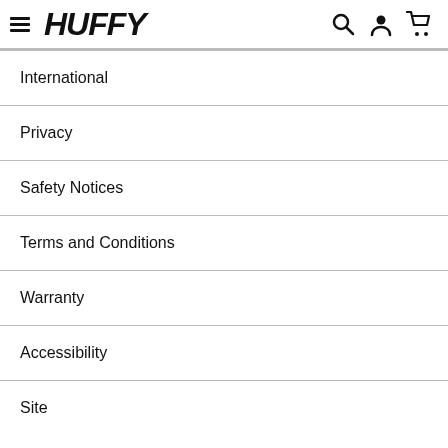HUFFY
International
Privacy
Safety Notices
Terms and Conditions
Warranty
Accessibility
Site...